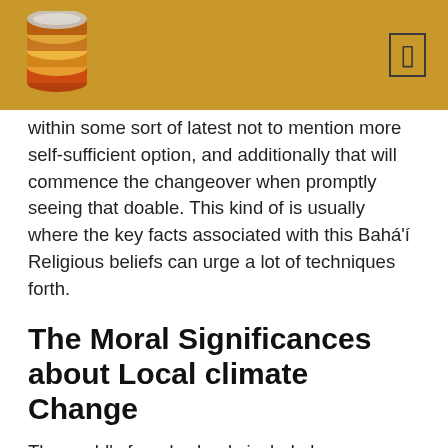within some sort of latest not to mention more self-sufficient option, and additionally that will commence the changeover when promptly seeing that doable. This kind of is usually where the key facts associated with this Bahá'í Religious beliefs can urge a lot of techniques forth.
The Moral Significances about Local climate Change
The world's found schools include been unsuccessful towards home address adequately all the danger involving climate improve.
Simply no politician possesses recently been wanting to help you giving up all the short-term global financial welfare involving his / her or perhaps her country, even although agreeing of which durability is usually imperative through that longer phrase.